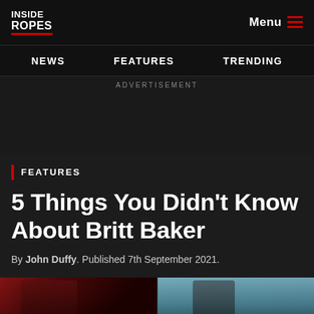INSIDE ROPES — NEWS | FEATURES | TRENDING | Menu
ADVERTISEMENT
FEATURES
5 Things You Didn't Know About Britt Baker
By John Duffy. Published 7th September 2021.
[Figure (photo): Two photos of Britt Baker at the bottom of the page — left photo shows her with red/bloodied hair, right photo shows her wearing a cap against a blue background.]